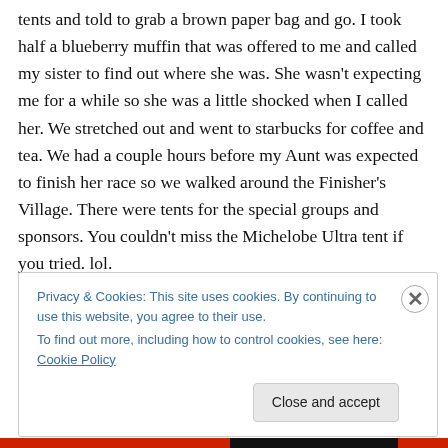tents and told to grab a brown paper bag and go. I took half a blueberry muffin that was offered to me and called my sister to find out where she was. She wasn't expecting me for a while so she was a little shocked when I called her. We stretched out and went to starbucks for coffee and tea. We had a couple hours before my Aunt was expected to finish her race so we walked around the Finisher's Village. There were tents for the special groups and sponsors. You couldn't miss the Michelobe Ultra tent if you tried. lol.
Privacy & Cookies: This site uses cookies. By continuing to use this website, you agree to their use. To find out more, including how to control cookies, see here: Cookie Policy